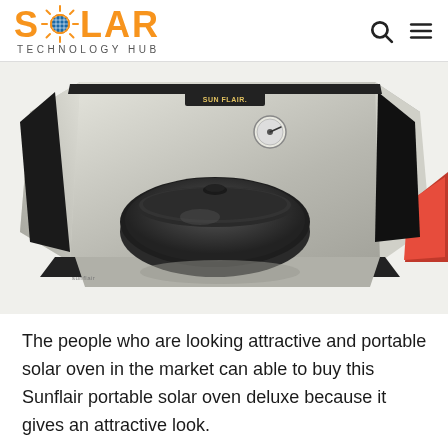SOLAR TECHNOLOGY HUB
[Figure (photo): A Sunflair portable solar oven deluxe, open and unfolded showing a reflective silver interior with a black cast iron pot inside, and a thermometer gauge visible at the top. The oven has black fabric edging and an orange handle visible on the right side.]
The people who are looking attractive and portable solar oven in the market can able to buy this Sunflair portable solar oven deluxe because it gives an attractive look.